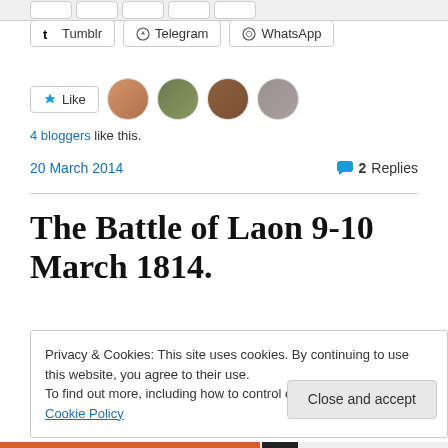[Figure (screenshot): Partial row of social share buttons at top of page, cut off]
Tumblr  Telegram  WhatsApp
[Figure (screenshot): Like button and four blogger avatar images]
4 bloggers like this.
20 March 2014   💬 2 Replies
The Battle of Laon 9-10 March 1814.
Privacy & Cookies: This site uses cookies. By continuing to use this website, you agree to their use.
To find out more, including how to control cookies, see here: Cookie Policy
Close and accept